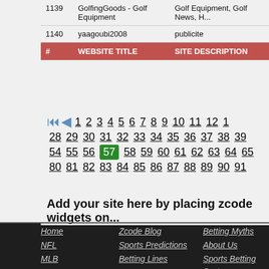| # | WEBSITE TITLE | SITE DESCRIPTION |
| --- | --- | --- |
| 1139 | GolfingGoods - Golf Equipment | Golf Equipment, Golf News, H... |
| 1140 | yaagoubi2008 | publicite |
Pagination: navigation icons, pages 1 2 3 4 5 6 7 8 9 10 11 12 1... 28 29 30 31 32 33 34 35 36 37 38 39... 54 55 56 57(current) 58 59 60 61 62 63 64 65... 80 81 82 83 84 85 86 87 88 89 90 91...
Add your site here by placing zcode widgets on...
Home | Zcode Blog | Betting Myths | NFL | Sports Predictions | About Us | MLB | Betting Lines | Sports Betting Syste... | NBA | Expert Picks | Football Betting Sy...